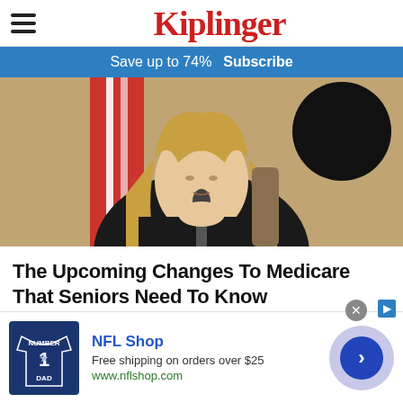Kiplinger
Save up to 74%  Subscribe
[Figure (photo): A blonde woman in a dark blazer sits at a desk with a microphone, hands clasped near her chin, with an American flag visible in the background.]
The Upcoming Changes To Medicare That Seniors Need To Know
Nation
[Figure (screenshot): NFL Shop advertisement banner: shows a dark blue NFL jersey, text 'NFL Shop', 'Free shipping on orders over $25', 'www.nflshop.com', with a circular purple/blue play button on the right.]